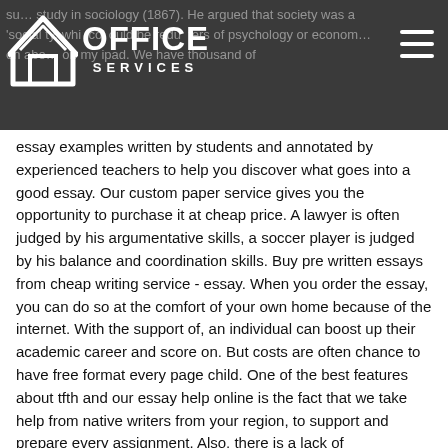OFFICE SERVICES
su... study in sociology (1867). He argued that society was a 'social ty, whi col ould be redu ters of psychology or econom... on abo... on my ipad. We have thousand of essay examples written by students and annotated by experienced teachers to help you discover what goes into a good essay. Our custom paper service gives you the opportunity to purchase it at cheap price. A lawyer is often judged by his argumentative skills, a soccer player is judged by his balance and coordination skills. Buy pre written essays from cheap writing service - essay. When you order the essay, you can do so at the comfort of your own home because of the internet. With the support of, an individual can boost up their academic career and score on. But costs are often chance to have free format every page child. One of the best features about tfth and our essay help online is the fact that we take help from native writers from your region, to support and prepare every assignment. Also, there is a lack of standardization for the coaches, psychologists, hypnotherapists and trainers means that you have to be selective human resource homework help in who you. Psychology is the study of human behaviors using scientific methods to both analyse and explain different human behaviors. Full confidentiality professional writers in-time delivery 24/7 support prices start at $/page.